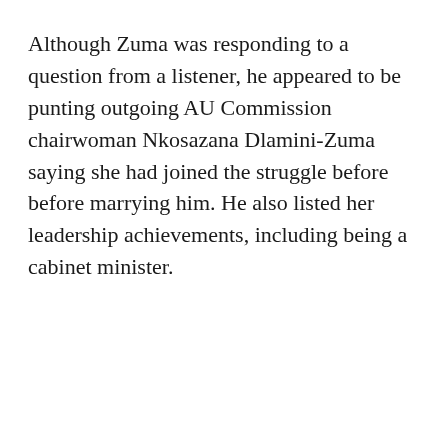Although Zuma was responding to a question from a listener, he appeared to be punting outgoing AU Commission chairwoman Nkosazana Dlamini-Zuma saying she had joined the struggle before before marrying him. He also listed her leadership achievements, including being a cabinet minister.